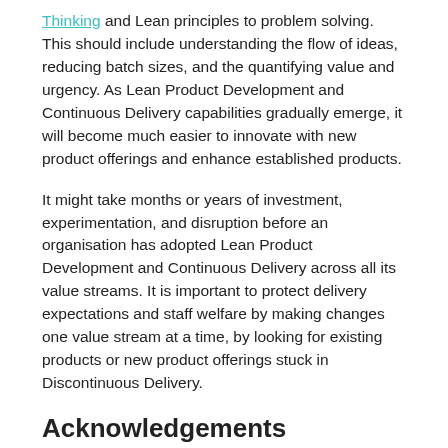Thinking and Lean principles to problem solving. This should include understanding the flow of ideas, reducing batch sizes, and the quantifying value and urgency. As Lean Product Development and Continuous Delivery capabilities gradually emerge, it will become much easier to innovate with new product offerings and enhance established products.
It might take months or years of investment, experimentation, and disruption before an organisation has adopted Lean Product Development and Continuous Delivery across all its value streams. It is important to protect delivery expectations and staff welfare by making changes one value stream at a time, by looking for existing products or new product offerings stuck in Discontinuous Delivery.
Acknowledgements